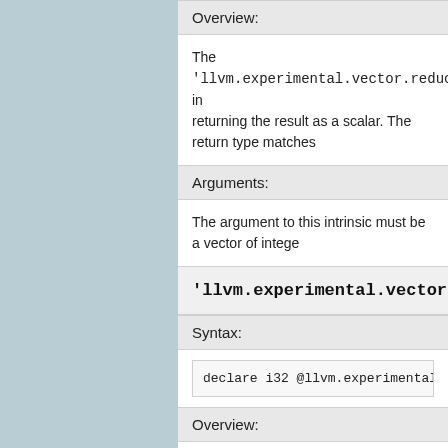Overview:
The 'llvm.experimental.vector.reduce.smin.*' intrinsic... returning the result as a scalar. The return type matches...
Arguments:
The argument to this intrinsic must be a vector of integers...
'llvm.experimental.vector.reduce.umax.*'
Syntax:
declare i32 @llvm.experimental.vector.reduc...
Overview:
The 'llvm.experimental.vector.reduce.umax.*' intrinsic... vector, returning the result as a scalar. The return type m...
Arguments: